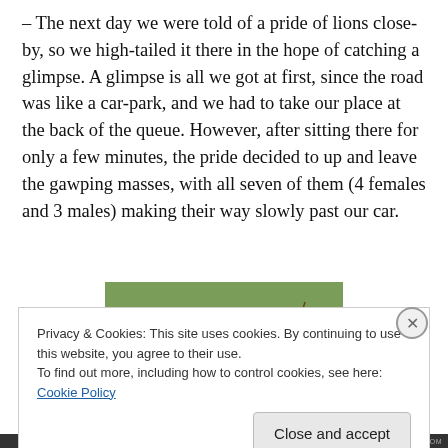– The next day we were told of a pride of lions close-by, so we high-tailed it there in the hope of catching a glimpse. A glimpse is all we got at first, since the road was like a car-park, and we had to take our place at the back of the queue. However, after sitting there for only a few minutes, the pride decided to up and leave the gawping masses, with all seven of them (4 females and 3 males) making their way slowly past our car.
[Figure (photo): Two lions (lionesses) close-up, facing the camera, with green bush/scrub vegetation in the background.]
Privacy & Cookies: This site uses cookies. By continuing to use this website, you agree to their use.
To find out more, including how to control cookies, see here: Cookie Policy